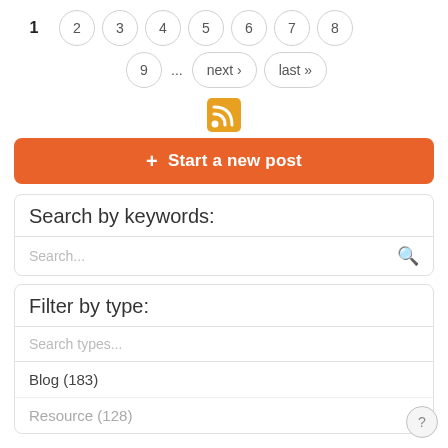Pagination: 1 2 3 4 5 6 7 8 9 ... next › last »
[Figure (other): RSS feed icon - orange square with white wifi/RSS signal symbol]
+ Start a new post
Search by keywords:
Search...
Filter by type:
Search types...
Blog (183)
Resource (128)